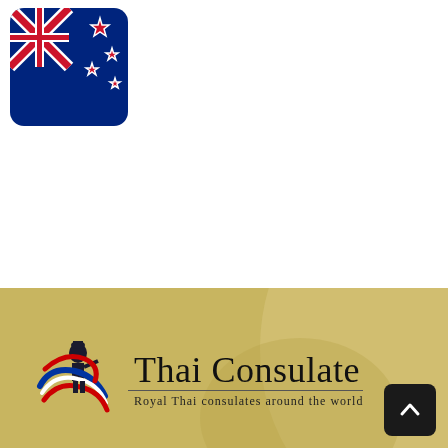[Figure (illustration): New Zealand flag icon with rounded corners, dark blue background with Union Jack and Southern Cross stars]
[Figure (logo): Thai Consulate logo with Thai warrior figure encircled by Thai flag ribbon, beside text 'Thai Consulate' and subtitle 'Royal Thai consulates around the world']
Thai Consulate
Royal Thai consulates around the world